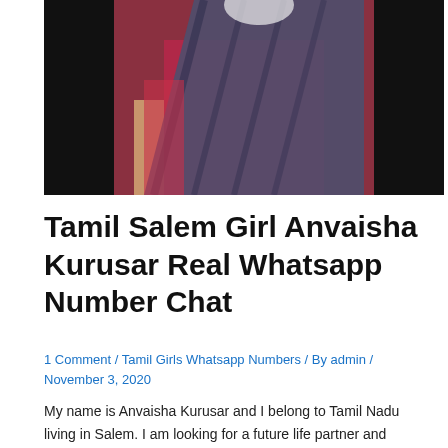[Figure (photo): Photo of a woman wearing a red and dark blue/grey outfit, upper body visible, with dark background on the sides.]
Tamil Salem Girl Anvaisha Kurusar Real Whatsapp Number Chat
1 Comment / Tamil Girls Whatsapp Numbers / By admin / November 3, 2020
My name is Anvaisha Kurusar and I belong to Tamil Nadu living in Salem. I am looking for a future life partner and friendship. Therefore here I am sharing my Tamil Girls Whatsapp Numbers. And I hope, I will find my life partner very soon here. I am a well-educated and good looking girl. And I …